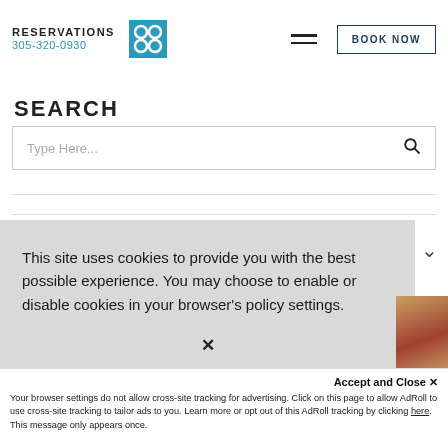RESERVATIONS 305-320-0930 [Logo] [Hamburger menu] BOOK NOW
SEARCH
[Figure (screenshot): Search input box with placeholder text 'Type Here...' and a search icon]
This site uses cookies to provide you with the best possible experience. You may choose to enable or disable cookies in your browser's policy settings.
Accept and Close ✕
Your browser settings do not allow cross-site tracking for advertising. Click on this page to allow AdRoll to use cross-site tracking to tailor ads to you. Learn more or opt out of this AdRoll tracking by clicking here. This message only appears once.